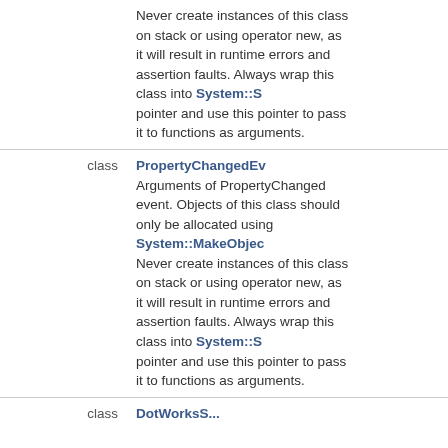| type | description |
| --- | --- |
|  | Never create instances of this class on stack or using operator new, as it will result in runtime errors and assertion faults. Always wrap this class into System::S pointer and use this pointer to pass it to functions as argu |
| class | PropertyChangedEv Arguments of PropertyChanged event. Objects of this class should only be allocated using System::MakeObject(). Never create instances of this class on stack or using operator new, as it will result in runtime errors and assertion faults. Always wrap this class into System::S pointer and use this pointer to pass it to functions as argu |
| class | DotWorksS... |